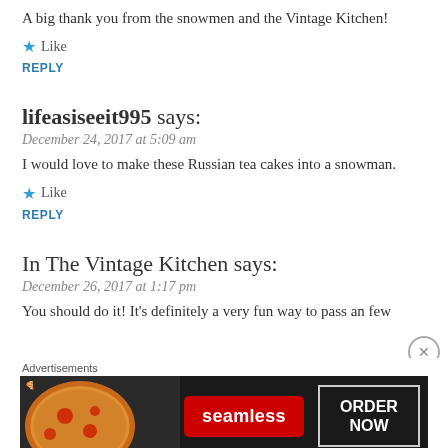A big thank you from the snowmen and the Vintage Kitchen!
★ Like
REPLY
lifeasiseeit995 says:
December 24, 2017 at 5:09 am
I would love to make these Russian tea cakes into a snowman.
★ Like
REPLY
In The Vintage Kitchen says:
December 26, 2017 at 1:17 pm
You should do it! It's definitely a very fun way to pass an few
[Figure (screenshot): Seamless food delivery advertisement banner with pizza image, Seamless red logo button, and ORDER NOW button on dark background]